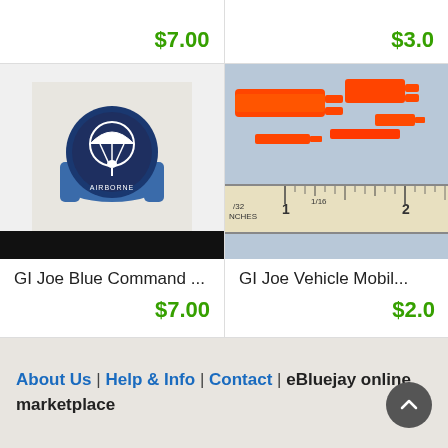$7.00
$3.0
[Figure (photo): A blue plastic ring with a white parachute emblem/badge on a light gray background, with a black bar at the bottom]
GI Joe Blue Command ...
$7.00
[Figure (photo): Orange/red plastic connector pieces next to a ruler showing inches markings (1/32 INCHES, 1/16, 1, 2)]
GI Joe Vehicle Mobil...
$2.0
About Us | Help & Info | Contact | eBluejay online marketplace